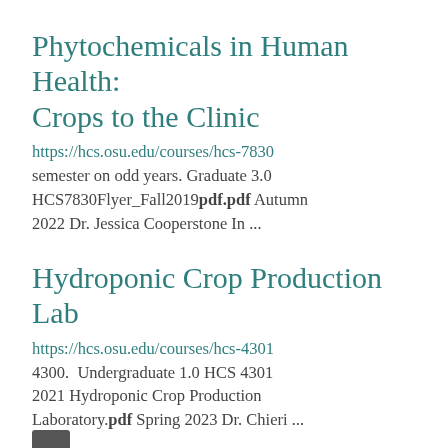Phytochemicals in Human Health: Crops to the Clinic
https://hcs.osu.edu/courses/hcs-7830 semester on odd years. Graduate 3.0 HCS7830Flyer_Fall2019pdf.pdf Autumn 2022 Dr. Jessica Cooperstone In ...
Hydroponic Crop Production Lab
https://hcs.osu.edu/courses/hcs-4301 4300.  Undergraduate 1.0 HCS 4301 2021 Hydroponic Crop Production Laboratory.pdf Spring 2023 Dr. Chieri ...